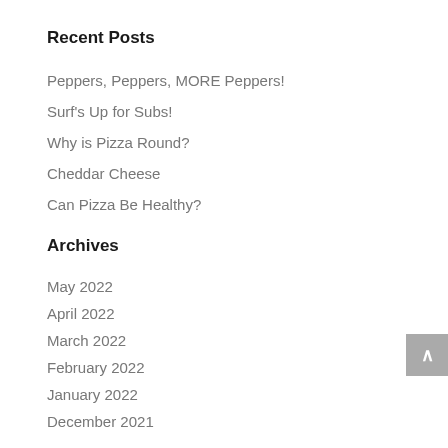Recent Posts
Peppers, Peppers, MORE Peppers!
Surf's Up for Subs!
Why is Pizza Round?
Cheddar Cheese
Can Pizza Be Healthy?
Archives
May 2022
April 2022
March 2022
February 2022
January 2022
December 2021
November 2021
October 2021
September 2021